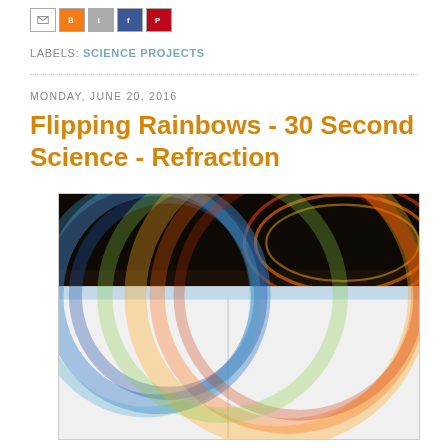[Figure (other): Row of social sharing icon buttons: Gmail (M), Blogger (B), Twitter (t), Facebook (f), Pinterest (P)]
LABELS: SCIENCE PROJECTS
[Figure (photo): Photo showing light refraction creating a rainbow spectrum effect on white paper, with a dark background at the top and colorful rainbow arcs visible in the lower portion of the image.]
MONDAY, JUNE 20, 2016
Flipping Rainbows - 30 Second Science - Refraction